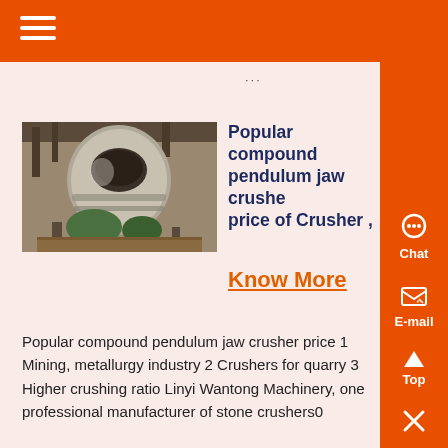...
[Figure (photo): Industrial jaw crusher machinery photographed in a workshop setting, showing a large cylindrical crusher component with metal framework and green machinery parts visible]
Popular compound pendulum jaw crusher price of Crusher ,
Know More
Popular compound pendulum jaw crusher price 1 Mining, metallurgy industry 2 Crushers for quarry 3 Higher crushing ratio Linyi Wantong Machinery, one professional manufacturer of stone crushers0